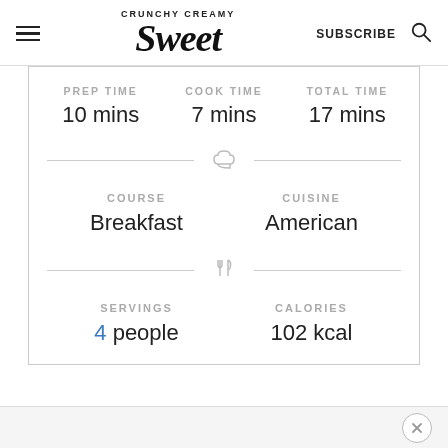CRUNCHY CREAMY Sweet
PREP TIME 10 mins | COOK TIME 7 mins | TOTAL TIME 17 mins
COURSE Breakfast | CUISINE American
SERVINGS 4 people | CALORIES 102 kcal